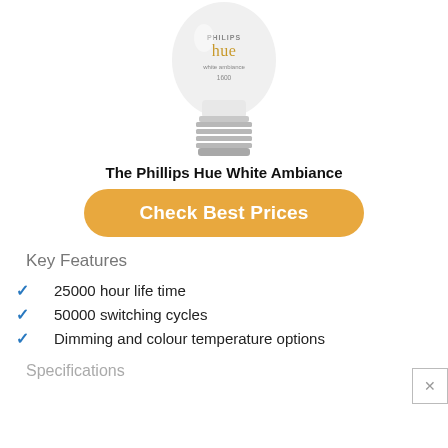[Figure (photo): Philips Hue White Ambiance light bulb product image, showing the white frosted glass bulb top and silver screw base, with PHILIPS hue white ambiance 1600 label text on the bulb]
The Phillips Hue White Ambiance
Check Best Prices
Key Features
25000 hour life time
50000 switching cycles
Dimming and colour temperature options
Specifications